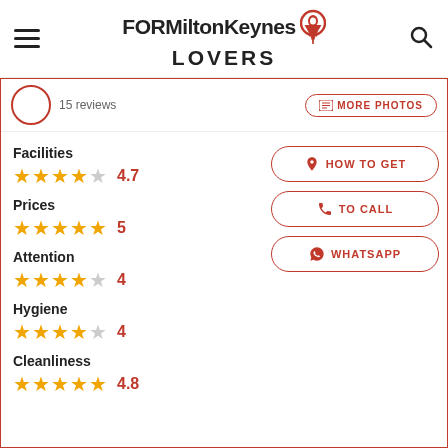FORMiltonKeynes LOVERS
15 reviews
MORE PHOTOS
Facilities
4.7
Prices
5
Attention
4
Hygiene
4
Cleanliness
4.8
HOW TO GET
TO CALL
WHATSAPP